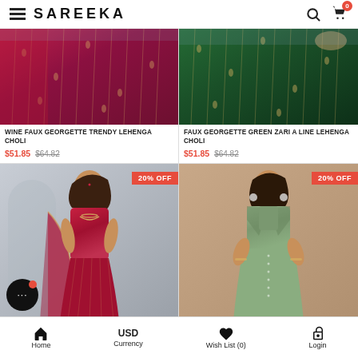SAREEKA — navigation header with hamburger menu, search, and cart (0)
[Figure (photo): Wine faux georgette lehenga choli — dark magenta/maroon embroidered fabric]
[Figure (photo): Faux georgette green zari lehenga choli — dark green embroidered fabric]
WINE FAUX GEORGETTE TRENDY LEHENGA CHOLI
FAUX GEORGETTE GREEN ZARI A LINE LEHENGA CHOLI
$51.85  $64.82
$51.85  $64.82
[Figure (photo): Red/maroon lehenga choli on model, 20% OFF badge]
[Figure (photo): Sage green lehenga with jacket on model, 20% OFF badge]
Home | USD Currency | Wish List (0) | Login